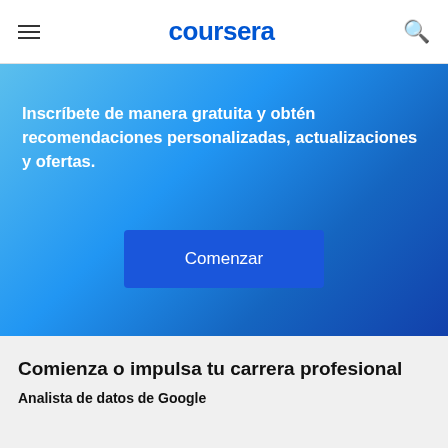coursera
Inscríbete de manera gratuita y obtén recomendaciones personalizadas, actualizaciones y ofertas.
Comenzar
Comienza o impulsa tu carrera profesional
Analista de datos de Google